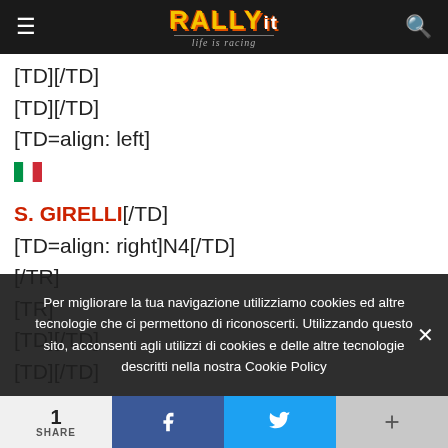Rally.it — life is racing
[TD][/TD]
[TD][/TD]
[TD=align: left]
🇮🇹

S. GIRELLI[/TD]
[TD=align: right]N4[/TD]
[/TR]
[TR]
[TD][/TD]
[TD][/TD]
Per migliorare la tua navigazione utilizziamo cookies ed altre tecnologie che ci permettono di riconoscerti. Utilizzando questo sito, acconsenti agli utilizzi di cookies e delle altre tecnologie descritti nella nostra Cookie Policy
1 SHARE  f  🐦  +